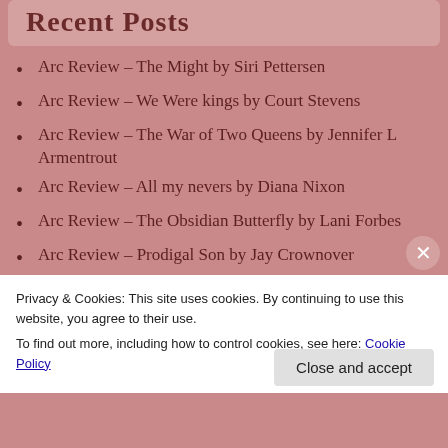Recent Posts
Arc Review – The Might by Siri Pettersen
Arc Review – We Were kings by Court Stevens
Arc Review – The War of Two Queens by Jennifer L Armentrout
Arc Review – All my nevers by Diana Nixon
Arc Review – The Obsidian Butterfly by Lani Forbes
Arc Review – Prodigal Son by Jay Crownover
Cover Reveal – Prodigal Son by Jay Crownover
Privacy & Cookies: This site uses cookies. By continuing to use this website, you agree to their use.
To find out more, including how to control cookies, see here: Cookie Policy